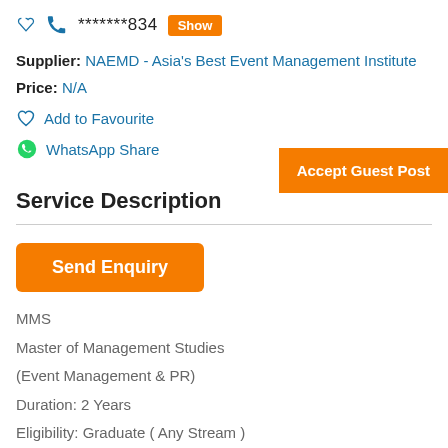********834 Show
Supplier: NAEMD - Asia's Best Event Management Institute
Price: N/A
Add to Favourite
WhatsApp Share
Accept Guest Post
Service Description
Send Enquiry
MMS
Master of Management Studies
(Event Management & PR)
Duration: 2 Years
Eligibility: Graduate ( Any Stream )